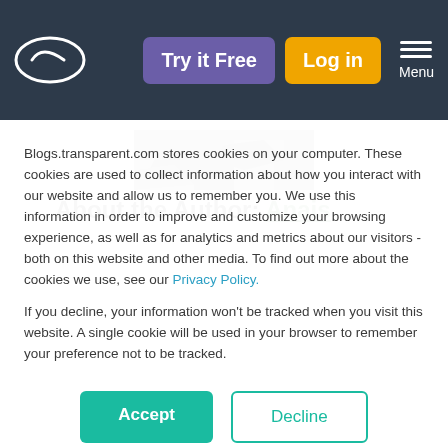Try it Free | Log in | Menu
[Figure (photo): Partial photo of rocks/stone scene, author image thumbnail]
About the Author: Anais
Blogs.transparent.com stores cookies on your computer. These cookies are used to collect information about how you interact with our website and allow us to remember you. We use this information in order to improve and customize your browsing experience, as well as for analytics and metrics about our visitors - both on this website and other media. To find out more about the cookies we use, see our Privacy Policy.
If you decline, your information won't be tracked when you visit this website. A single cookie will be used in your browser to remember your preference not to be tracked.
Accept | Decline